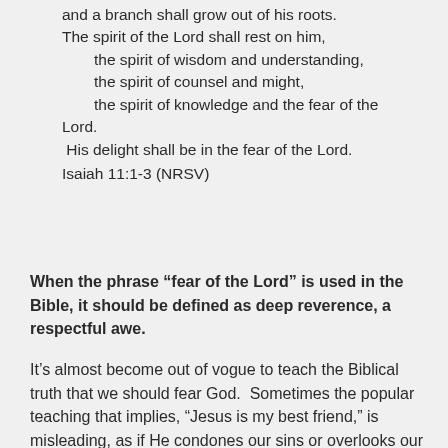and a branch shall grow out of his roots. The spirit of the Lord shall rest on him, the spirit of wisdom and understanding, the spirit of counsel and might, the spirit of knowledge and the fear of the Lord. His delight shall be in the fear of the Lord. Isaiah 11:1-3 (NRSV)
When the phrase “fear of the Lord” is used in the Bible, it should be defined as deep reverence, a respectful awe.
It’s almost become out of vogue to teach the Biblical truth that we should fear God.  Sometimes the popular teaching that implies, “Jesus is my best friend,” is misleading, as if He condones our sins or overlooks our